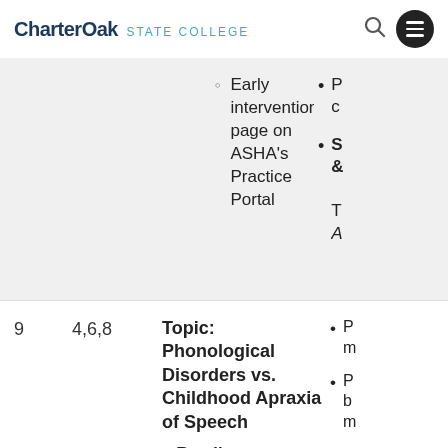CharterOak STATE COLLEGE
Early intervention page on ASHA's Practice Portal
Topic: Phonological Disorders vs. Childhood Apraxia of Speech
Readings: